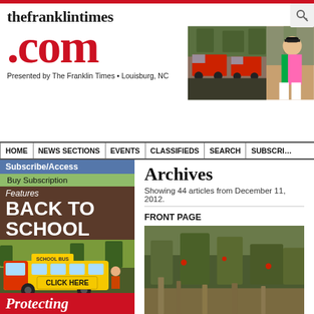thefranklintimes.com - Presented by The Franklin Times • Louisburg, NC
[Figure (screenshot): Website header with fire truck parade photo and girl scout photo]
HOME | NEWS SECTIONS | EVENTS | CLASSIFIEDS | SEARCH | SUBSCRIBE
Subscribe/Access
Buy Subscription
Archives
Showing 44 articles from December 11, 2012.
[Figure (illustration): Back to School advertisement featuring school bus with CLICK HERE button]
Protecting
FRONT PAGE
[Figure (photo): Article photo showing outdoor vegetation/brush scene]